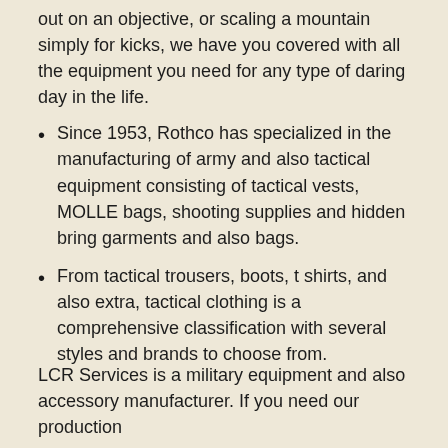out on an objective, or scaling a mountain simply for kicks, we have you covered with all the equipment you need for any type of daring day in the life.
Since 1953, Rothco has specialized in the manufacturing of army and also tactical equipment consisting of tactical vests, MOLLE bags, shooting supplies and hidden bring garments and also bags.
From tactical trousers, boots, t shirts, and also extra, tactical clothing is a comprehensive classification with several styles and brands to choose from.
LCR Services is a military equipment and also accessory manufacturer. If you need our production